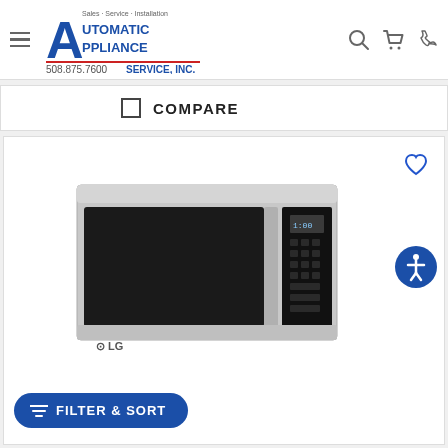Automatic Appliance Service, Inc. — Sales · Service · Installation — 508.875.7600
COMPARE
[Figure (photo): LG over-the-range microwave oven in stainless steel finish with black door and control panel on the right side, shown against white background]
FILTER & SORT